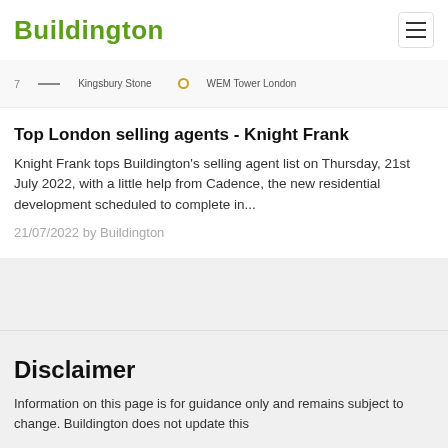Buildington
[Figure (other): Chart legend strip showing item 7 with Kingsbury Stone line legend and WEM Tower London dot legend]
Top London selling agents - Knight Frank
Knight Frank tops Buildington's selling agent list on Thursday, 21st July 2022, with a little help from Cadence, the new residential development scheduled to complete in...
21/07/2022 by Buildington
Disclaimer
Information on this page is for guidance only and remains subject to change. Buildington does not update this...